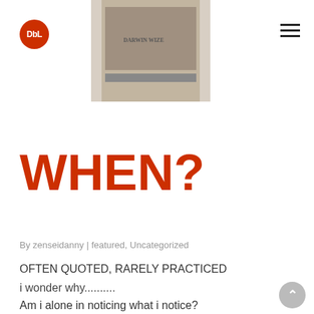DbL | www.DanielBuccioni.com
[Figure (photo): Book cover image, partially visible, shown in a banner at top]
WHEN?
By zenseidanny | featured, Uncategorized
OFTEN QUOTED, RARELY PRACTICED
i wonder why..........
Am i alone in noticing what i notice?
we KNOW what we need to do
for businesses, for relationships, for self...